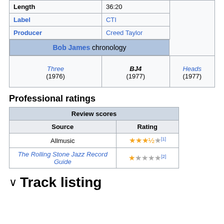| Length | 36:20 |
| --- | --- |
| Label | CTI |
| Producer | Creed Taylor |
| Bob James chronology |
| --- |
| Three (1976) | BJ4 (1977) | Heads (1977) |
Professional ratings
| Review scores |
| --- |
| Source | Rating |
| Allmusic | ★★★½★ [1] |
| The Rolling Stone Jazz Record Guide | ★★★★★ [2] |
Track listing